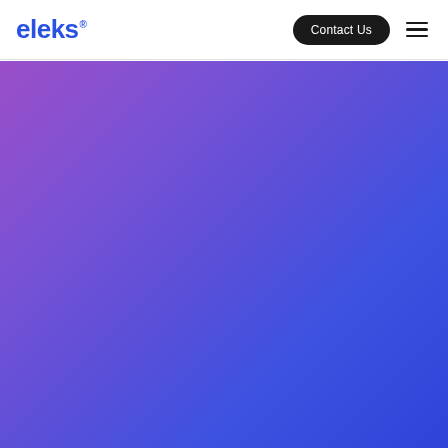eleks
[Figure (illustration): Purple to blue gradient hero background filling the lower portion of the page]